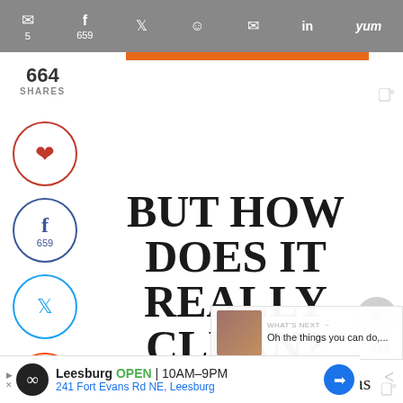Pinterest 5  Facebook 659  Twitter  Reddit  Email  LinkedIn  Yum
664 SHARES
BUT HOW DOES IT REALLY CLEAN?
Let me tell you, the Dyson Ball Animal 2 has surprised me away at every turn. The kids playroom? Wait, let me show you. This is stuff of my nightmares:
Leesburg OPEN 10AM–9PM 241 Fort Evans Rd NE, Leesburg